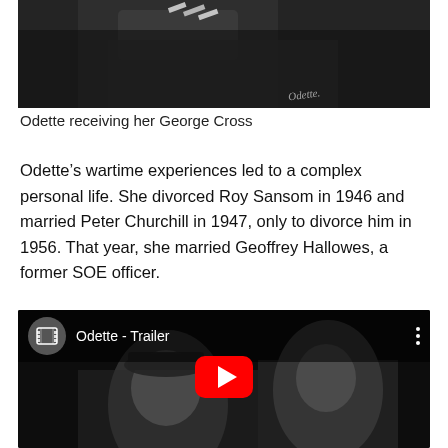[Figure (photo): Black and white photograph of Odette receiving her George Cross, showing partial torso with medals or ribbons, signed 'Odette' in cursive at bottom right]
Odette receiving her George Cross
Odette's wartime experiences led to a complex personal life. She divorced Roy Sansom in 1946 and married Peter Churchill in 1947, only to divorce him in 1956. That year, she married Geoffrey Hallowes, a former SOE officer.
[Figure (screenshot): YouTube video thumbnail for 'Odette - Trailer' showing a black and white film still of two people, with YouTube play button overlay and top bar showing film icon, title, and three-dot menu]